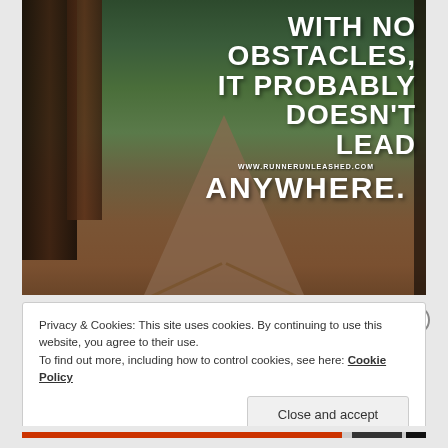[Figure (photo): A forest path with tall redwood/fir trees on the sides, a wooden fence railing, and a winding trail leading into the distance. The image has a motivational quote overlaid in white bold text: 'WITH NO OBSTACLES, IT PROBABLY DOESN'T LEAD ANYWHERE.' with website www.runnerunleashed.com]
Privacy & Cookies: This site uses cookies. By continuing to use this website, you agree to their use.
To find out more, including how to control cookies, see here: Cookie Policy
Close and accept